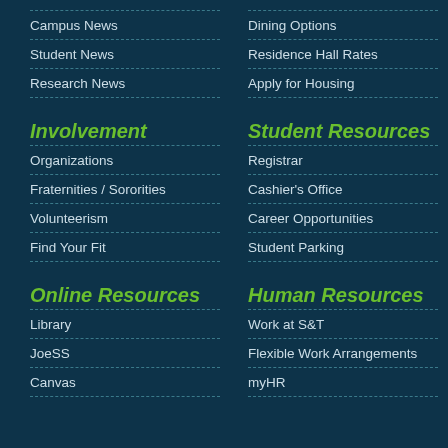Campus News
Student News
Research News
Dining Options
Residence Hall Rates
Apply for Housing
Involvement
Organizations
Fraternities / Sororities
Volunteerism
Find Your Fit
Student Resources
Registrar
Cashier's Office
Career Opportunities
Student Parking
Online Resources
Library
JoeSS
Canvas
Human Resources
Work at S&T
Flexible Work Arrangements
myHR